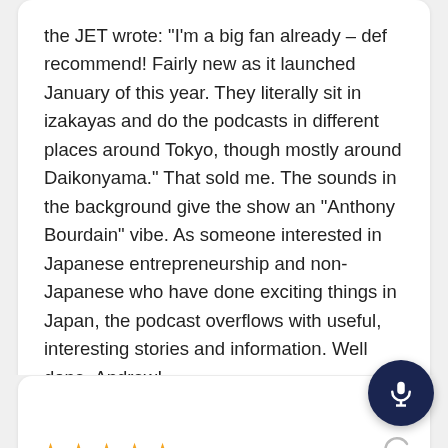the JET wrote: "I'm a big fan already – def recommend! Fairly new as it launched January of this year. They literally sit in izakayas and do the podcasts in different places around Tokyo, though mostly around Daikonyama." That sold me. The sounds in the background give the show an "Anthony Bourdain" vibe. As someone interested in Japanese entrepreneurship and non-Japanese who have done exciting things in Japan, the podcast overflows with useful, interesting stories and information. Well done, Andrew!
DanKnowsJapan  May 27, 2020
[Figure (logo): Purple podcast app icon with microphone]
[Figure (illustration): Dark navy circular microphone button]
[Figure (illustration): Five gold star rating icons]
[Figure (illustration): Share/reply arrow icon]